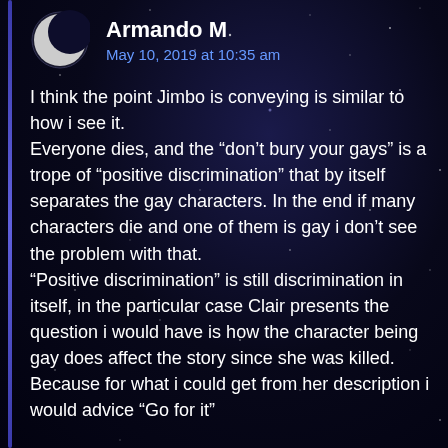Armando M — May 10, 2019 at 10:35 am
I think the point Jimbo is conveying is similar to how i see it.
Everyone dies, and the “don’t bury your gays” is a trope of “positive discrimination” that by itself separates the gay characters. In the end if many characters die and one of them is gay i don’t see the problem with that.
“Positive discrimination” is still discrimination in itself, in the particular case Clair presents the question i would have is how the character being gay does affect the story since she was killed. Because for what i could get from her description i would advice “Go for it”